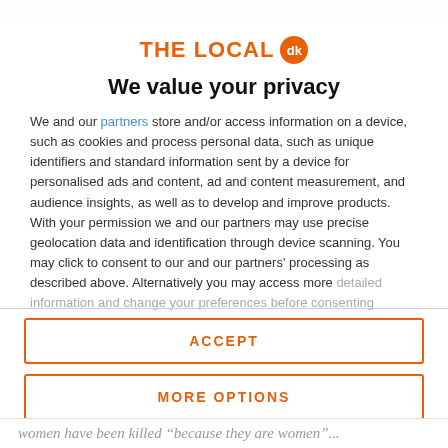[Figure (logo): The Local dk logo — orange text 'THE LOCAL' with orange circle badge containing 'dk']
We value your privacy
We and our partners store and/or access information on a device, such as cookies and process personal data, such as unique identifiers and standard information sent by a device for personalised ads and content, ad and content measurement, and audience insights, as well as to develop and improve products. With your permission we and our partners may use precise geolocation data and identification through device scanning. You may click to consent to our and our partners' processing as described above. Alternatively you may access more detailed information and change your preferences before consenting
ACCEPT
MORE OPTIONS
women have been killed "because they are women"...